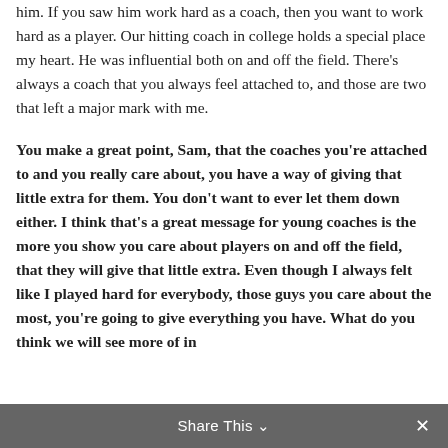him. If you saw him work hard as a coach, then you want to work hard as a player. Our hitting coach in college holds a special place my heart. He was influential both on and off the field. There's always a coach that you always feel attached to, and those are two that left a major mark with me.
You make a great point, Sam, that the coaches you're attached to and you really care about, you have a way of giving that little extra for them. You don't want to ever let them down either. I think that's a great message for young coaches is the more you show you care about players on and off the field, that they will give that little extra. Even though I always felt like I played hard for everybody, those guys you care about the most, you're going to give everything you have. What do you think we will see more of in
Share This